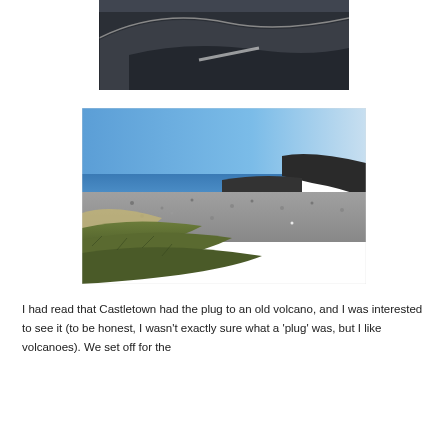[Figure (photo): Close-up photo of dark grey slate or stone surface with curved and angular shapes, appears to be a roof or paved area viewed from above at an angle]
[Figure (photo): Coastal landscape photo showing a rocky shingle beach with grassy foreground, dark rocky outcrop, calm blue sea and clear blue sky in the background]
I had read that Castletown had the plug to an old volcano, and I was interested to see it (to be honest, I wasn't exactly sure what a 'plug' was, but I like volcanoes). We set off for the